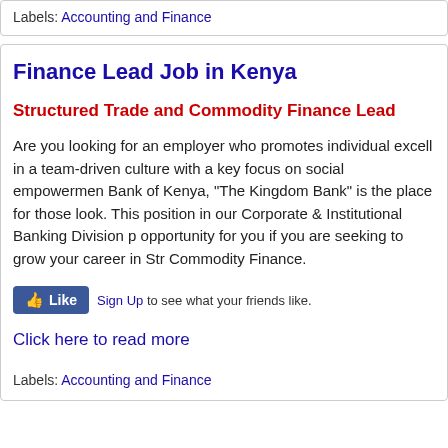Labels: Accounting and Finance
Finance Lead Job in Kenya
Structured Trade and Commodity Finance Lead
Are you looking for an employer who promotes individual excell... in a team-driven culture with a key focus on social empowerment... Bank of Kenya, "The Kingdom Bank" is the place for those look... This position in our Corporate & Institutional Banking Division p... opportunity for you if you are seeking to grow your career in Str... Commodity Finance.
Sign Up to see what your friends like.
Click here to read more
Labels: Accounting and Finance